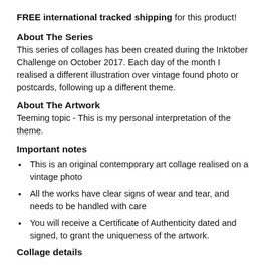FREE international tracked shipping for this product!
About The Series
This series of collages has been created during the Inktober Challenge on October 2017. Each day of the month I realised a different illustration over vintage found photo or postcards, following up a different theme.
About The Artwork
Teeming topic - This is my personal interpretation of the theme.
Important notes
This is an original contemporary art collage realised on a vintage photo
All the works have clear signs of wear and tear, and needs to be handled with care
You will receive a Certificate of Authenticity dated and signed, to grant the uniqueness of the artwork.
Collage details